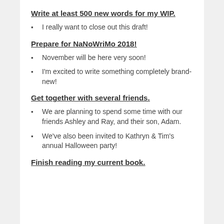Write at least 500 new words for my WIP.
I really want to close out this draft!
Prepare for NaNoWriMo 2018!
November will be here very soon!
I'm excited to write something completely brand-new!
Get together with several friends.
We are planning to spend some time with our friends Ashley and Ray, and their son, Adam.
We've also been invited to Kathryn & Tim's annual Halloween party!
Finish reading my current book.